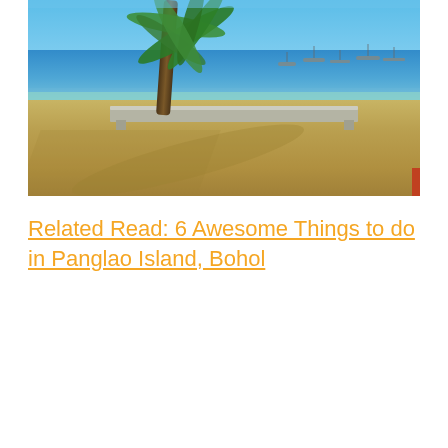[Figure (photo): Beach scene with blue ocean, sandy shore, a palm tree on the left, a concrete ledge/bench in the middle, and several boats visible on the water in the background. Blue sky above.]
Related Read: 6 Awesome Things to do in Panglao Island, Bohol